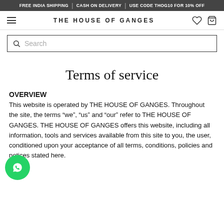FREE INDIA SHIPPING | CASH ON DELIVERY | USE CODE THOG10 FOR 10% OFF
THE HOUSE OF GANGES
Search
Terms of service
OVERVIEW
This website is operated by THE HOUSE OF GANGES. Throughout the site, the terms “we”, “us” and “our” refer to THE HOUSE OF GANGES. THE HOUSE OF GANGES offers this website, including all information, tools and services available from this site to you, the user, conditioned upon your acceptance of all terms, conditions, policies and notices stated here.